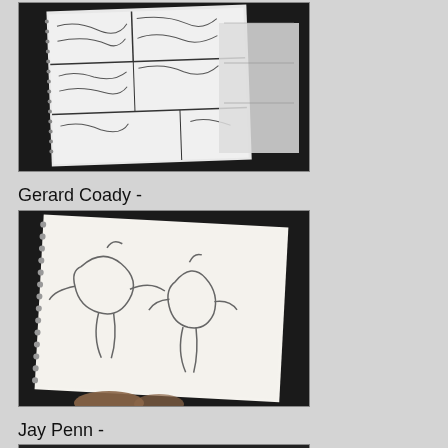[Figure (photo): Photo of comic book pencil art pages held up, showing detailed sketched panels with action scenes and characters]
Gerard Coady -
[Figure (photo): Photo of a spiral-bound sketchbook held open showing pencil sketch of cartoon characters in a scene]
Jay Penn -
[Figure (photo): Partial photo visible at bottom of page, cropped]